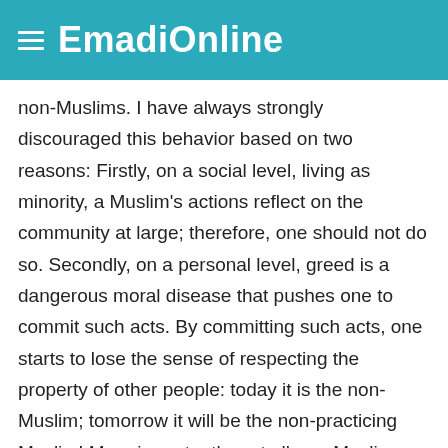EmadiOnline
non-Muslims. I have always strongly discouraged this behavior based on two reasons: Firstly, on a social level, living as minority, a Muslim's actions reflect on the community at large; therefore, one should not do so. Secondly, on a personal level, greed is a dangerous moral disease that pushes one to commit such acts. By committing such acts, one starts to lose the sense of respecting the property of other people: today it is the non-Muslim; tomorrow it will be the non-practicing Muslim! More importantly, not all non-Muslims are al-kafir alharbi. Besides al-kafir al-harbi, there are three other categories of non-Muslims: